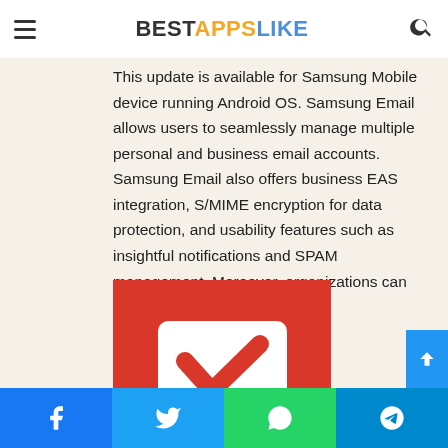BESTAPPSLIKE
This update is available for Samsung Mobile device running Android OS. Samsung Email allows users to seamlessly manage multiple personal and business email accounts. Samsung Email also offers business EAS integration, S/MIME encryption for data protection, and usability features such as insightful notifications and SPAM management. Moreover, organizations can
[Figure (logo): Samsung Email app icon — red background with white envelope and red checkmark]
Facebook | Twitter | WhatsApp | Telegram share buttons